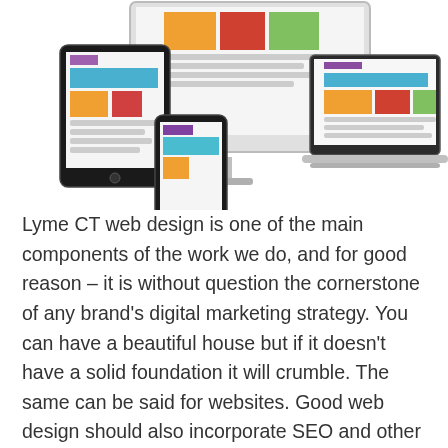[Figure (illustration): Illustration of responsive web design showing a desktop monitor, laptop, tablet, and smartphone displaying colorful webpage layouts with orange, red, green, blue, and purple blocks representing website UI elements.]
Lyme CT web design is one of the main components of the work we do, and for good reason – it is without question the cornerstone of any brand's digital marketing strategy. You can have a beautiful house but if it doesn't have a solid foundation it will crumble. The same can be said for websites. Good web design should also incorporate SEO and other traffic-driving strategies to make sure the right